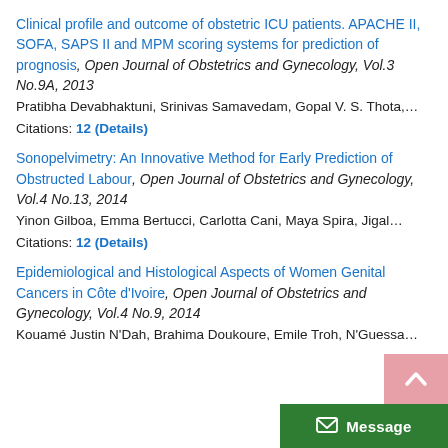Clinical profile and outcome of obstetric ICU patients. APACHE II, SOFA, SAPS II and MPM scoring systems for prediction of prognosis, Open Journal of Obstetrics and Gynecology, Vol.3 No.9A, 2013
Pratibha Devabhaktuni, Srinivas Samavedam, Gopal V. S. Thota,…
Citations: 12 (Details)
Sonopelvimetry: An Innovative Method for Early Prediction of Obstructed Labour, Open Journal of Obstetrics and Gynecology, Vol.4 No.13, 2014
Yinon Gilboa, Emma Bertucci, Carlotta Cani, Maya Spira, Jigal…
Citations: 12 (Details)
Epidemiological and Histological Aspects of Women Genital Cancers in Côte d'Ivoire, Open Journal of Obstetrics and Gynecology, Vol.4 No.9, 2014
Kouamé Justin N'Dah, Brahima Doukoure, Emile Troh, N'Guessa…